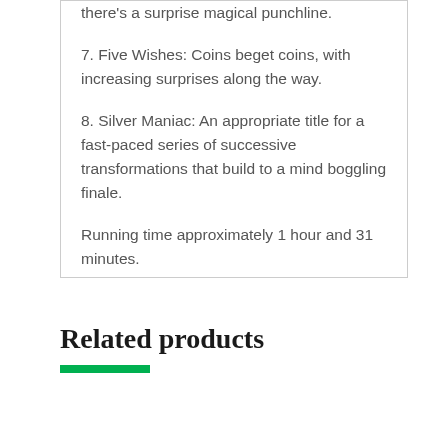there's a surprise magical punchline.
7. Five Wishes: Coins beget coins, with increasing surprises along the way.
8. Silver Maniac: An appropriate title for a fast-paced series of successive transformations that build to a mind boggling finale.
Running time approximately 1 hour and 31 minutes.
Related products